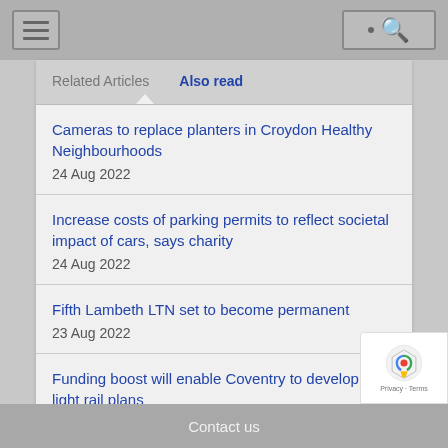Navigation bar with menu and search
Related Articles | Also read
Cameras to replace planters in Croydon Healthy Neighbourhoods
24 Aug 2022
Increase costs of parking permits to reflect societal impact of cars, says charity
24 Aug 2022
Fifth Lambeth LTN set to become permanent
23 Aug 2022
Funding boost will enable Coventry to develop very light rail plans
Contact us